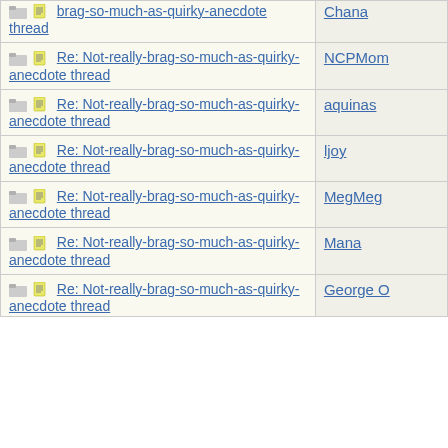| Topic | Author |
| --- | --- |
| [folder][doc] Re: Not-really-brag-so-much-as-quirky-anecdote thread | Chana |
| [folder][doc] Re: Not-really-brag-so-much-as-quirky-anecdote thread | NCPMom |
| [folder][doc] Re: Not-really-brag-so-much-as-quirky-anecdote thread | aquinas |
| [folder][doc] Re: Not-really-brag-so-much-as-quirky-anecdote thread | ljoy |
| [folder][doc] Re: Not-really-brag-so-much-as-quirky-anecdote thread | MegMeg |
| [folder][doc] Re: Not-really-brag-so-much-as-quirky-anecdote thread | Mana |
| [folder][doc] Re: Not-really-brag-so-much-as-quirky-anecdote thread | George O |